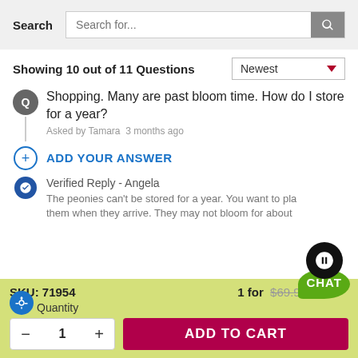Search
Showing 10 out of 11 Questions
Shopping. Many are past bloom time. How do I store for a year? Asked by Tamara 3 months ago
ADD YOUR ANSWER
Verified Reply - Angela
The peonies can't be stored for a year. You want to plant them when they arrive. They may not bloom for about
SKU: 71954   1 for $69.99
Quantity
- 1 +
ADD TO CART